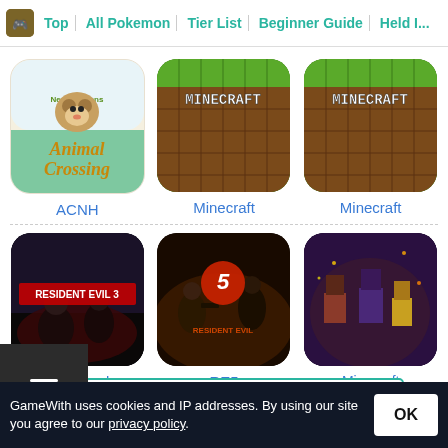Top | All Pokemon | Tier List | Beginner Guide | Held I...
[Figure (screenshot): ACNH (Animal Crossing New Horizons) game icon - beige background with Animal Crossing logo]
[Figure (screenshot): Minecraft game icon - green grass and dirt block pattern with MINECRAFT text]
[Figure (screenshot): Minecraft game icon - green grass and dirt block pattern with MINECRAFT text]
ACNH
Minecraft
Minecraft
[Figure (screenshot): Resident Evil 3 Remake game cover - dark horror image with RESIDENT EVIL 3 text]
[Figure (screenshot): Resident Evil 5 game cover - action image with RE5 logo]
[Figure (screenshot): Minecraft Dungeons game cover - colorful action scene with characters]
RE3 Remake
RE5
Minecraft Dungeons
View
GameWith uses cookies and IP addresses. By using our site you agree to our privacy policy.
OK